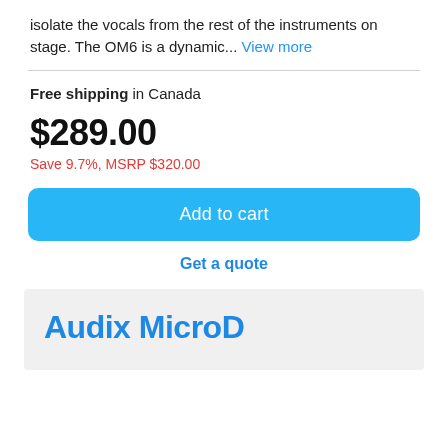isolate the vocals from the rest of the instruments on stage. The OM6 is a dynamic... View more
Free shipping in Canada
$289.00
Save 9.7%, MSRP $320.00
Add to cart
Get a quote
Audix MicroD